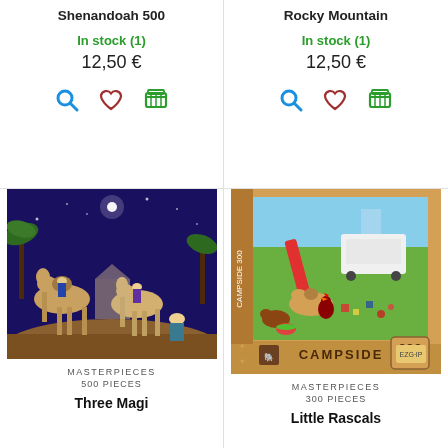Shenandoah 500
In stock (1)
12,50 €
Rocky Mountain
In stock (1)
12,50 €
[Figure (photo): Nativity scene puzzle image showing Three Magi with camels under a starry night sky]
MASTERPIECES
500 PIECES
Three Magi
[Figure (photo): Campside 300 puzzle box showing animals at a campsite with a rooster, camel, and other animals]
MASTERPIECES
300 PIECES
Little Rascals